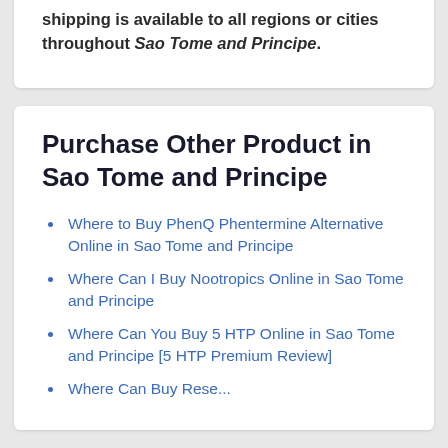shipping is available to all regions or cities throughout Sao Tome and Principe.
Purchase Other Product in Sao Tome and Principe
Where to Buy PhenQ Phentermine Alternative Online in Sao Tome and Principe
Where Can I Buy Nootropics Online in Sao Tome and Principe
Where Can You Buy 5 HTP Online in Sao Tome and Principe [5 HTP Premium Review]
Where Can Buy...